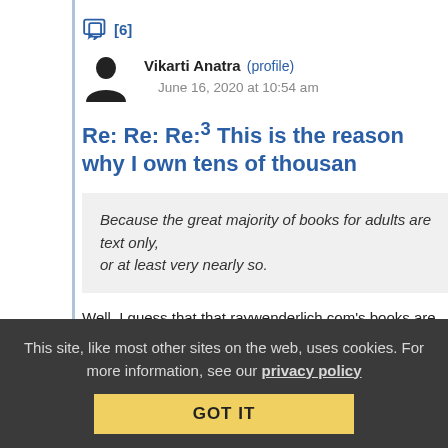[6]
Vikarti Anatra (profile)   June 16, 2020 at 10:54 am
Re: Re: Re:3 This is the reason why I own tens of thousan
Because the great majority of books for adults are text only, or at least very nearly so.
Well, I guess that that raywenderlich.com's books are mainly targeted at children (their ebooks are rather large PDFs, with a lot of colored and specially formatted text and pictures. They
This site, like most other sites on the web, uses cookies. For more information, see our privacy policy GOT IT